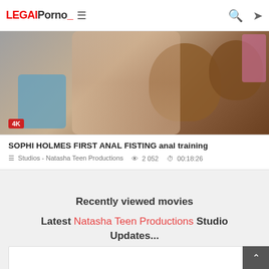LegalPorno
[Figure (photo): Thumbnail photo with a blonde person, stuffed teddy bears, blue pillow, and pink vase. A red '4K' badge is in the lower-left corner.]
SOPHI HOLMES FIRST ANAL FISTING anal training
Studios - Natasha Teen Productions   2 052   00:18:26
Recently viewed movies
Latest Natasha Teen Productions Studio Updates...